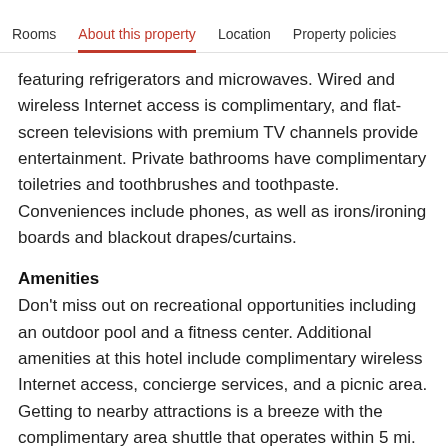Rooms | About this property | Location | Property policies
featuring refrigerators and microwaves. Wired and wireless Internet access is complimentary, and flat-screen televisions with premium TV channels provide entertainment. Private bathrooms have complimentary toiletries and toothbrushes and toothpaste. Conveniences include phones, as well as irons/ironing boards and blackout drapes/curtains.
Amenities
Don't miss out on recreational opportunities including an outdoor pool and a fitness center. Additional amenities at this hotel include complimentary wireless Internet access, concierge services, and a picnic area. Getting to nearby attractions is a breeze with the complimentary area shuttle that operates within 5 mi.